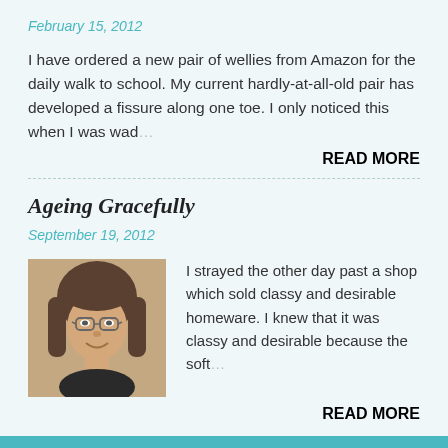February 15, 2012
I have ordered a new pair of wellies from Amazon for the daily walk to school. My current hardly-at-all-old pair has developed a fissure along one toe. I only noticed this when I was wad…
READ MORE
Ageing Gracefully
September 19, 2012
[Figure (photo): Portrait photo of a middle-aged woman with glasses and long hair, smiling]
I strayed the other day past a shop which sold classy and desirable homeware. I knew that it was classy and desirable because the soft…
READ MORE